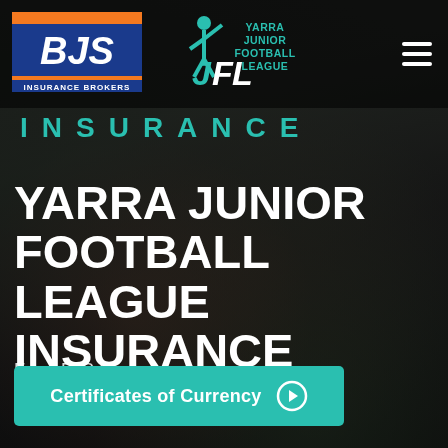[Figure (logo): BJS Insurance Brokers logo - blue and orange rectangular logo with BJS in white italic text and 'INSURANCE BROKERS' below]
[Figure (logo): Yarra Junior Football League logo - teal JFL letters with figure raising arm and 'YARRA JUNIOR FOOTBALL LEAGUE' text in teal]
INSURANCE
YARRA JUNIOR FOOTBALL LEAGUE INSURANCE
From BJS Insurance.
Certificates of Currency